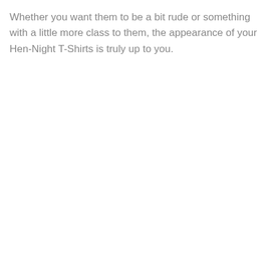Whether you want them to be a bit rude or something with a little more class to them, the appearance of your Hen-Night T-Shirts is truly up to you.